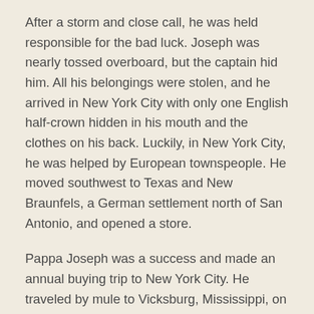After a storm and close call, he was held responsible for the bad luck. Joseph was nearly tossed overboard, but the captain hid him. All his belongings were stolen, and he arrived in New York City with only one English half-crown hidden in his mouth and the clothes on his back. Luckily, in New York City, he was helped by European townspeople. He moved southwest to Texas and New Braunfels, a German settlement north of San Antonio, and opened a store.
Pappa Joseph was a success and made an annual buying trip to New York City. He traveled by mule to Vicksburg, Mississippi, on a river steamer to St. Louis, and by train to New York. But the long and treacherous trip was worth it when he met his wife and love of his life, Helena Friedlander, from Albany. Wedding photo of Harry's Parents in 1851: